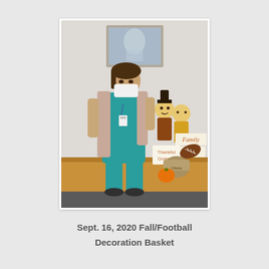[Figure (photo): A healthcare worker wearing teal scrubs, a light pink cardigan, and a white N95 mask stands next to a desk with fall/football themed decoration basket including scarecrow figurines, signs reading 'Family', 'Friends', 'Thankful', 'Grateful', a football decoration, and a small orange pumpkin. A framed picture hangs on the wall behind her.]
Sept. 16, 2020 Fall/Football Decoration Basket